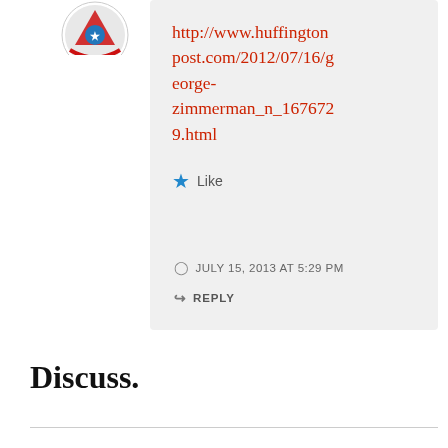[Figure (logo): Circular avatar/logo icon with red and blue design, partially visible at top]
http://www.huffingtonpost.com/2012/07/16/george-zimmerman_n_1676729.html
★ Like
JULY 15, 2013 AT 5:29 PM
↳ REPLY
Discuss.